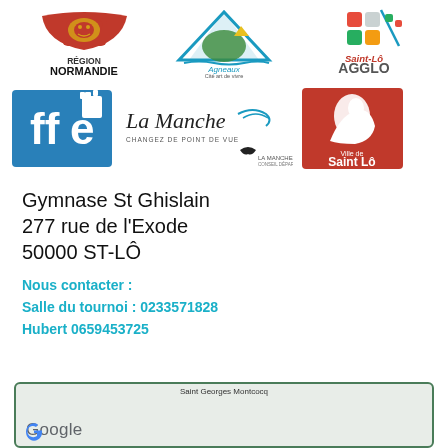[Figure (logo): Région Normandie logo with lion flag icon]
[Figure (logo): Agneaux Cité art de vivre logo with mountain and tree]
[Figure (logo): Saint-Lô Agglo logo with colorful squares]
[Figure (logo): FFE (Fédération Française des Échecs) chess federation logo in blue]
[Figure (logo): La Manche Changez de point de vue logo]
[Figure (logo): Ville de Saint Lô red logo with rider]
Gymnase St Ghislain
277 rue de l'Exode
50000 ST-LÔ
Nous contacter :
Salle du tournoi : 0233571828
Hubert 0659453725
[Figure (screenshot): Google Maps preview showing Saint-Georges-Montcocq area]